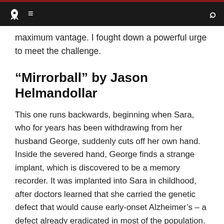Navigation bar with rocket logo, menu icon, and search icon
maximum vantage. I fought down a powerful urge to meet the challenge.
“Mirrorball” by Jason Helmandollar
This one runs backwards, beginning when Sara, who for years has been withdrawing from her husband George, suddenly cuts off her own hand. Inside the severed hand, George finds a strange implant, which is discovered to be a memory recorder. It was implanted into Sara in childhood, after doctors learned that she carried the genetic defect that would cause early-onset Alzheimer’s – a defect already eradicated in most of the population. Now, without it, the disease has fully manifested.